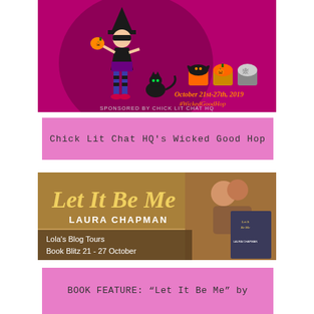[Figure (illustration): Halloween-themed banner for Wicked Good Hop event. Pink/magenta background with a stylized witch girl holding a pumpkin, a black cat, Halloween cupcakes. Text reads 'October 21st-27th, 2019 #WickedGoodHop SPONSORED BY CHICK LIT CHAT HQ']
Chick Lit Chat HQ's Wicked Good Hop
[Figure (illustration): Book blitz banner for 'Let It Be Me' by Laura Chapman. Yellow script title text, photo of couple, book cover shown. Text: 'Lola's Blog Tours Book Blitz 21 - 27 October']
BOOK FEATURE: “Let It Be Me” by